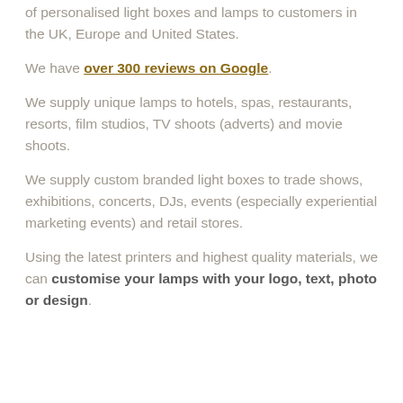of personalised light boxes and lamps to customers in the UK, Europe and United States.
We have over 300 reviews on Google.
We supply unique lamps to hotels, spas, restaurants, resorts, film studios, TV shoots (adverts) and movie shoots.
We supply custom branded light boxes to trade shows, exhibitions, concerts, DJs, events (especially experiential marketing events) and retail stores.
Using the latest printers and highest quality materials, we can customise your lamps with your logo, text, photo or design.